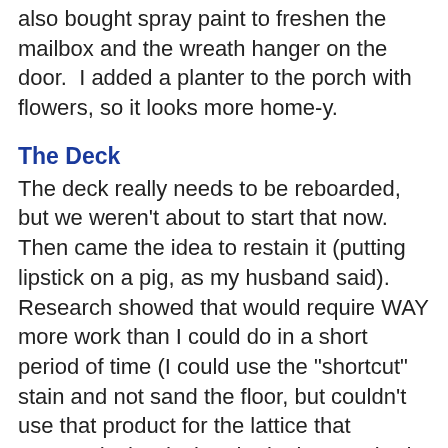also bought spray paint to freshen the mailbox and the wreath hanger on the door.  I added a planter to the porch with flowers, so it looks more home-y.
The Deck
The deck really needs to be reboarded, but we weren't about to start that now.  Then came the idea to restain it (putting lipstick on a pig, as my husband said).  Research showed that would require WAY more work than I could do in a short period of time (I could use the "shortcut" stain and not sand the floor, but couldn't use that product for the lattice that surrounds the deck.  The lattice required a different product, and that would require sanding). Just for giggles, I called a few places and found out it would be about $2000 to have someone come do it (dealing with those guys on the phone was a delight).
OK...so that isn't going to work.  So the final decision was to "stage" the deck.  Any money we put into this project would at least be for "us" as we would take it all with us.  I moved our conversation chairs to the upper deck (which surrounds the pool), and bought 2 expensive side tables.  I made some placemat pillows that we put out for showings (I haven't had